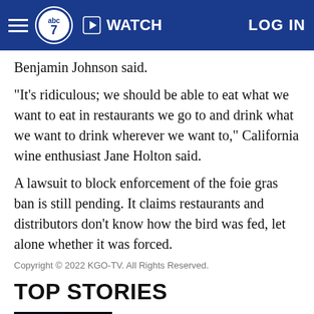abc7 | WATCH | LOG IN
Benjamin Johnson said.
"It's ridiculous; we should be able to eat what we want to eat in restaurants we go to and drink what we want to drink wherever we want to," California wine enthusiast Jane Holton said.
A lawsuit to block enforcement of the foie gras ban is still pending. It claims restaurants and distributors don't know how the bird was fed, let alone whether it was forced.
Copyright © 2022 KGO-TV. All Rights Reserved.
TOP STORIES
Sheriff: 2 inmates escaped from Contra Costa Co. jail
Updated a minute ago